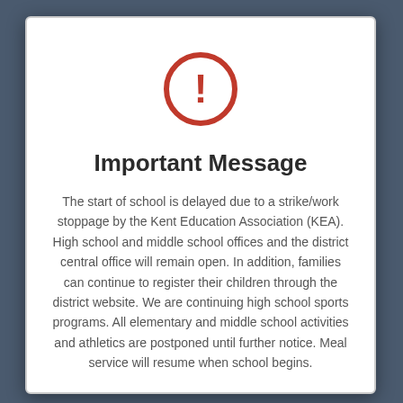[Figure (illustration): Red circle with exclamation mark warning icon]
Important Message
The start of school is delayed due to a strike/work stoppage by the Kent Education Association (KEA). High school and middle school offices and the district central office will remain open. In addition, families can continue to register their children through the district website. We are continuing high school sports programs. All elementary and middle school activities and athletics are postponed until further notice. Meal service will resume when school begins.